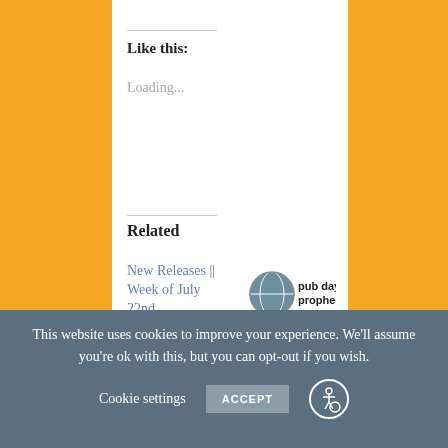Like this:
Loading...
Related
New Releases || Week of July 22nd
We're almost to the end of July, but we're not out of new releases yet!
[Figure (photo): Pub Day Prophecies logo with globe and spider-leg creature]
Pub Day Prophecies || November 2020
November 1, 2020
This website uses cookies to improve your experience. We'll assume you're ok with this, but you can opt-out if you wish.
Cookie settings   ACCEPT